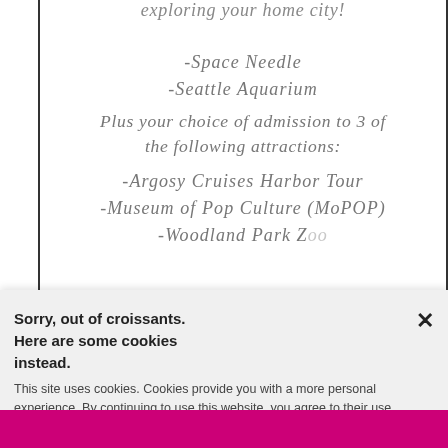exploring your home city!
-Space Needle
-Seattle Aquarium
Plus your choice of admission to 3 of the following attractions:
-Argosy Cruises Harbor Tour
-Museum of Pop Culture (MoPOP)
-Woodland Park Zoo
Sorry, out of croissants.
Here are some cookies instead.
This site uses cookies. Cookies provide you with a more personal experience. By continuing to use this website, you agree to their use.